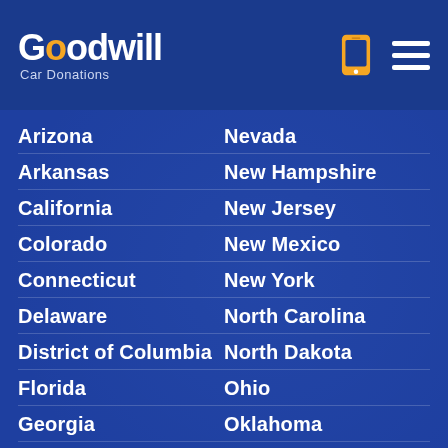[Figure (logo): Goodwill Car Donations logo with phone and hamburger menu icons in header]
Arizona
Arkansas
California
Colorado
Connecticut
Delaware
District of Columbia
Florida
Georgia
Hawaii
Idaho
Illinois
Indiana
Iowa
Kansas
Nevada
New Hampshire
New Jersey
New Mexico
New York
North Carolina
North Dakota
Ohio
Oklahoma
Oregon
Pennsylvania
Rhode Island
South Carolina
South Dakota
Tennessee